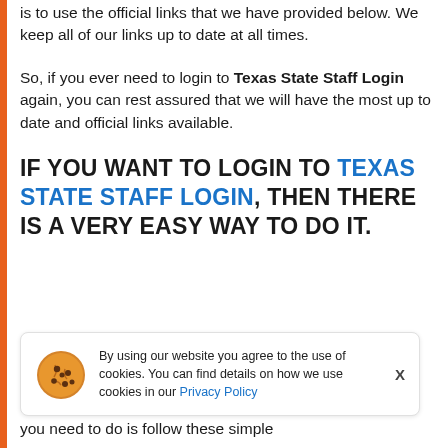is to use the official links that we have provided below. We keep all of our links up to date at all times.
So, if you ever need to login to Texas State Staff Login again, you can rest assured that we will have the most up to date and official links available.
IF YOU WANT TO LOGIN TO TEXAS STATE STAFF LOGIN, THEN THERE IS A VERY EASY WAY TO DO IT.
By using our website you agree to the use of cookies. You can find details on how we use cookies in our Privacy Policy
you need to do is follow these simple